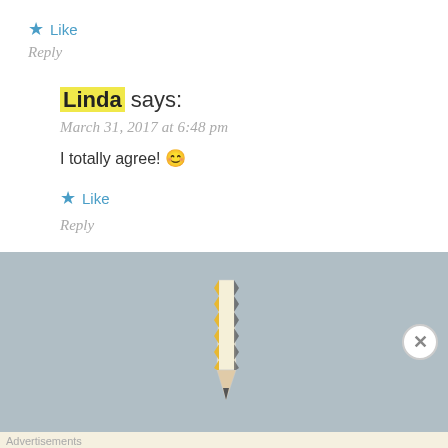★ Like
Reply
Linda says:
March 31, 2017 at 6:48 pm
I totally agree! 😊
★ Like
Reply
[Figure (illustration): Zigzag shaped broken pencil illustration on grey background]
Advertisements
Professionally designed sites in less than a week